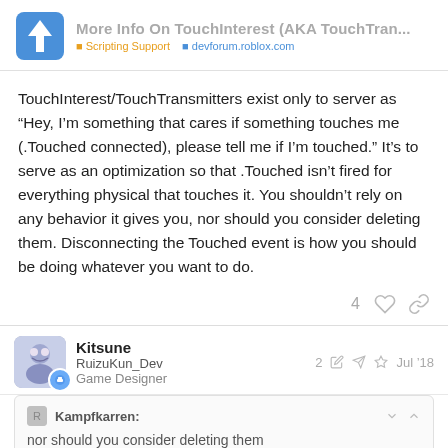More Info On TouchInterest (AKA TouchTran...
TouchInterest/TouchTransmitters exist only to server as “Hey, I’m something that cares if something touches me (.Touched connected), please tell me if I’m touched.” It’s to serve as an optimization so that .Touched isn’t fired for everything physical that touches it. You shouldn’t rely on any behavior it gives you, nor should you consider deleting them. Disconnecting the Touched event is how you should be doing whatever you want to do.
4 ♡ 🔗
Kitsune
RuizuKun_Dev
Game Designer
2 ✎ ➡ ◇ Jul ’18
Kampfkarren:
nor should you consider deleting them